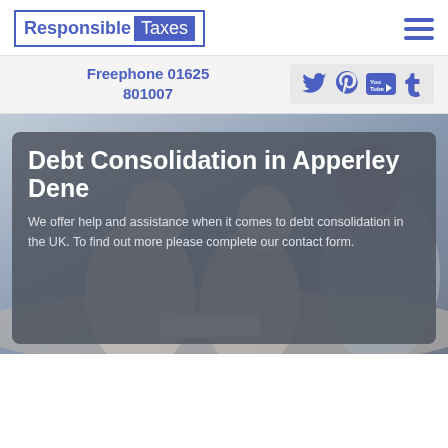[Figure (logo): Responsible Taxes logo with border, 'Responsible' in blue and 'Taxes' in white on blue background]
[Figure (other): Hamburger menu icon with three blue horizontal lines]
Freephone 01625
801007
[Figure (other): Social media icons: Twitter, Pinterest, YouTube, Tumblr in blue]
[Figure (photo): Background photo of people at a desk, presumably discussing finances]
Debt Consolidation in Apperley Dene
We offer help and assistance when it comes to debt consolidation in the UK. To find out more please complete our contact form.